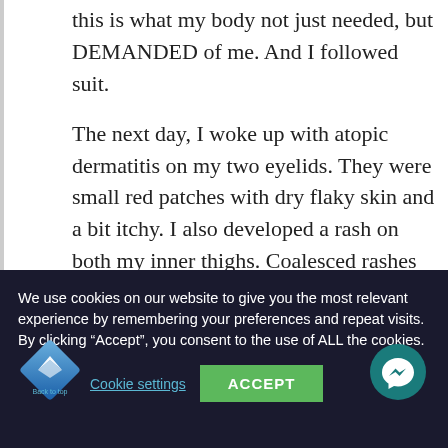this is what my body not just needed, but DEMANDED of me. And I followed suit.
The next day, I woke up with atopic dermatitis on my two eyelids. They were small red patches with dry flaky skin and a bit itchy. I also developed a rash on both my inner thighs. Coalesced rashes that looks more like urticaria or hives. Not
We use cookies on our website to give you the most relevant experience by remembering your preferences and repeat visits. By clicking “Accept”, you consent to the use of ALL the cookies.
Cookie settings
ACCEPT